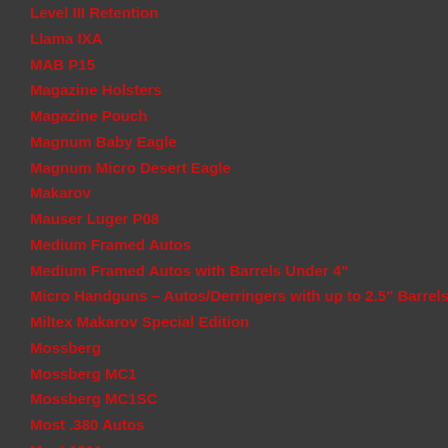Level III Retention
Llama IXA
MAB P15
Magazine Holsters
Magazine Pouch
Magnum Baby Eagle
Magnum Micro Desert Eagle
Makarov
Mauser Luger P08
Medium Framed Autos
Medium Framed Autos with Barrels Under 4"
Micro Handguns – Autos/Derringers with up to 2.5" Barrels
Miltex Makarov Special Edition
Mossberg
Mossberg MC1
Mossberg MC1SC
Most .380 Autos
Most 1911s
Most 1911s with 5" Barrels
Most Double Action Revolvers
Most Double-Stacked Semi-Automatic Pistols
Most Semiautomatic Pistols
Most Single Stack and Sub-Compact Semi-Automatic